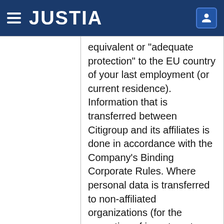JUSTIA
equivalent or "adequate protection" to the EU country of your last employment (or current residence). Information that is transferred between Citigroup and its affiliates is done in accordance with the Company's Binding Corporate Rules. Where personal data is transferred to non-affiliated organizations (for the execution of investments, payments or any other transactions), the Company